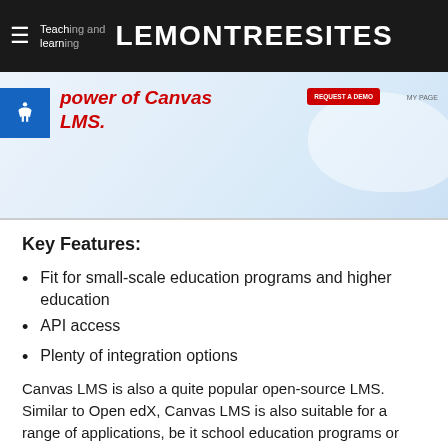LEMONTREESITES — Teaching and learning with the power of Canvas LMS.
[Figure (screenshot): Website header screenshot showing Lemontreesites branding, navigation hamburger menu, accessibility icon, 'power of Canvas LMS.' red headline text, and a request a demo button on a light blue background.]
Key Features:
Fit for small-scale education programs and higher education
API access
Plenty of integration options
Canvas LMS is also a quite popular open-source LMS. Similar to Open edX, Canvas LMS is also suitable for a range of applications, be it school education programs or university degrees.